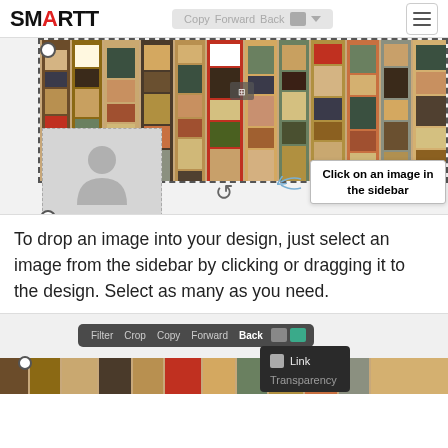SMARTT
[Figure (screenshot): Screenshot of SMARTT design editor showing a stacked books image selected with dashed border, a profile placeholder image in selection, rotation handle, and a tooltip callout reading 'Click on an image in the sidebar']
To drop an image into your design, just select an image from the sidebar by clicking or dragging it to the design. Select as many as you need.
[Figure (screenshot): Screenshot of SMARTT editor toolbar showing Filter, Crop, Copy, Forward, Back buttons with a dropdown menu open showing Link and Transparency options, and a books image below]